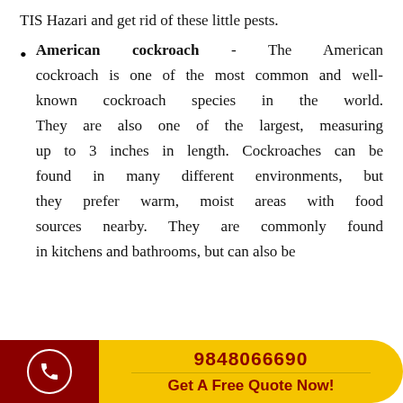TIS Hazari and get rid of these little pests.
American cockroach - The American cockroach is one of the most common and well-known cockroach species in the world. They are also one of the largest, measuring up to 3 inches in length. Cockroaches can be found in many different environments, but they prefer warm, moist areas with food sources nearby. They are commonly found in kitchens and bathrooms, but can also be
9848066690
Get A Free Quote Now!